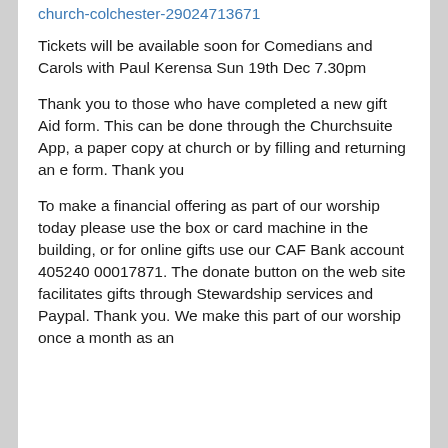church-colchester-29024713671
Tickets will be available soon for Comedians and Carols with Paul Kerensa Sun 19th Dec 7.30pm
Thank you to those who have completed a new gift Aid form. This can be done through the Churchsuite App, a paper copy at church or by filling and returning an e form. Thank you
To make a financial offering as part of our worship today please use the box or card machine in the building, or for online gifts use our CAF Bank account 405240 00017871. The donate button on the web site facilitates gifts through Stewardship services and Paypal. Thank you. We make this part of our worship once a month as an